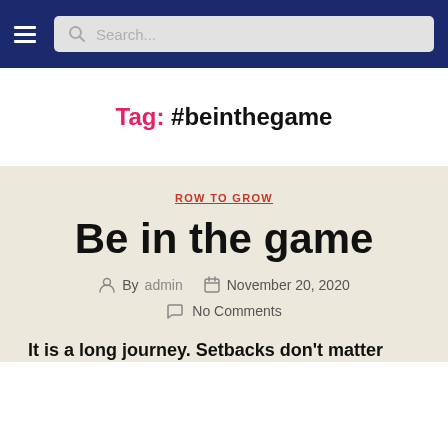☰  Search...
Tag: #beinthegame
ROW TO GROW
Be in the game
By admin  November 20, 2020  No Comments
It is a long journey. Setbacks don't matter